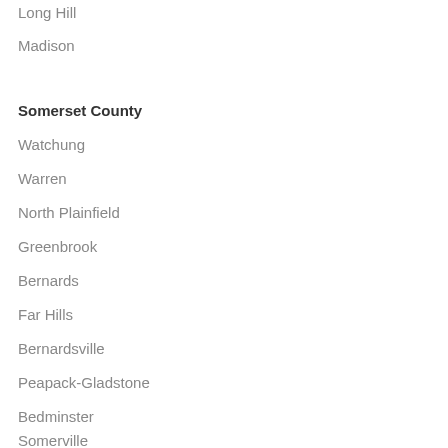Long Hill
Madison
Somerset County
Watchung
Warren
North Plainfield
Greenbrook
Bernards
Far Hills
Bernardsville
Peapack-Gladstone
Bedminster
Somerville